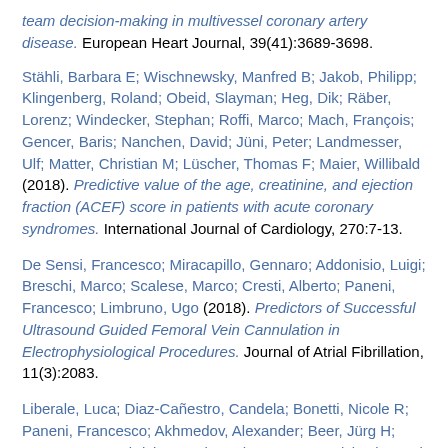team decision-making in multivessel coronary artery disease. European Heart Journal, 39(41):3689-3698.
Stähli, Barbara E; Wischnewsky, Manfred B; Jakob, Philipp; Klingenberg, Roland; Obeid, Slayman; Heg, Dik; Räber, Lorenz; Windecker, Stephan; Roffi, Marco; Mach, François; Gencer, Baris; Nanchen, David; Jüni, Peter; Landmesser, Ulf; Matter, Christian M; Lüscher, Thomas F; Maier, Willibald (2018). Predictive value of the age, creatinine, and ejection fraction (ACEF) score in patients with acute coronary syndromes. International Journal of Cardiology, 270:7-13.
De Sensi, Francesco; Miracapillo, Gennaro; Addonisio, Luigi; Breschi, Marco; Scalese, Marco; Cresti, Alberto; Paneni, Francesco; Limbruno, Ugo (2018). Predictors of Successful Ultrasound Guided Femoral Vein Cannulation in Electrophysiological Procedures. Journal of Atrial Fibrillation, 11(3):2083.
Liberale, Luca; Diaz-Cañestro, Candela; Bonetti, Nicole R; Paneni, Francesco; Akhmedov, Alexander; Beer, Jürg H; Montecucco, Fabrizio; Lüscher, Thomas F; Camici, Giovanni G (2018). Post-ischaemic administration of the murine Canakinumab-surrogate antibody improves outcome in